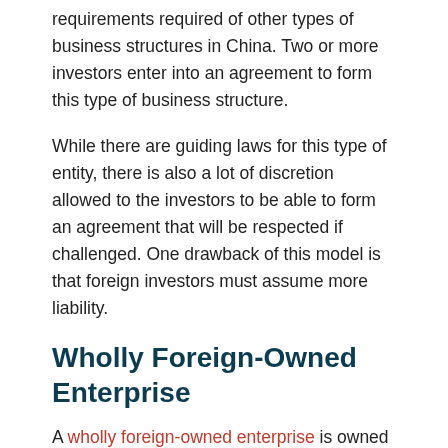requirements required of other types of business structures in China. Two or more investors enter into an agreement to form this type of business structure.
While there are guiding laws for this type of entity, there is also a lot of discretion allowed to the investors to be able to form an agreement that will be respected if challenged. One drawback of this model is that foreign investors must assume more liability.
Wholly Foreign-Owned Enterprise
A wholly foreign-owned enterprise is owned by one or more foreign investors and is completely autonomous. It has all of the legal recognition and liability as a domestic company. Therefore, this type of business structure has its own